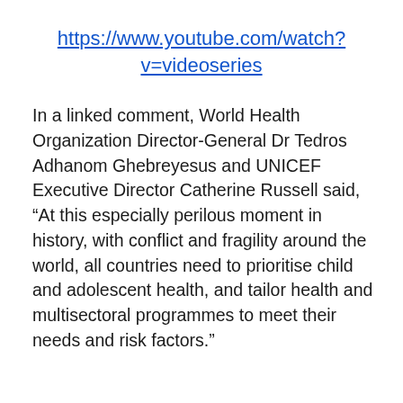https://www.youtube.com/watch?v=videoseries
In a linked comment, World Health Organization Director-General Dr Tedros Adhanom Ghebreyesus and UNICEF Executive Director Catherine Russell said, “At this especially perilous moment in history, with conflict and fragility around the world, all countries need to prioritise child and adolescent health, and tailor health and multisectoral programmes to meet their needs and risk factors.”